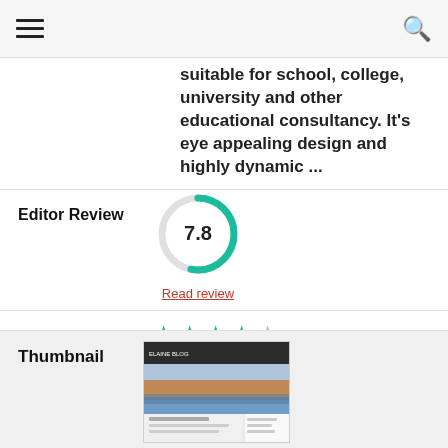[hamburger menu icon] [search icon]
suitable for school, college, university and other educational consultancy. It's eye appealing design and highly dynamic ...
Editor Review
[Figure (other): Circular gauge showing score 7.8 in teal/green color, approximately 78% arc filled]
Read review
User Rating
[Figure (other): 4 filled teal stars and 1 empty gray star rating display]
User Rating:
Be the first one!
Thumbnail
[Figure (screenshot): Thumbnail image of a website showing a blog layout with a bridge photo (Golden Gate Bridge style) and sidebar content]